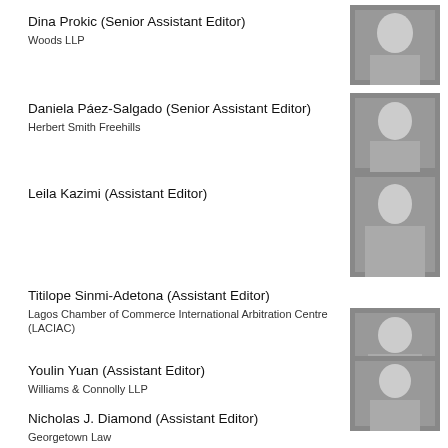Dina Prokic (Senior Assistant Editor)
Woods LLP
[Figure (photo): Black and white portrait photo of Dina Prokic]
Daniela Páez-Salgado (Senior Assistant Editor)
Herbert Smith Freehills
[Figure (photo): Black and white portrait photo of Daniela Páez-Salgado]
Leila Kazimi (Assistant Editor)
[Figure (photo): Black and white portrait photo of Leila Kazimi]
Titilope Sinmi-Adetona (Assistant Editor)
Lagos Chamber of Commerce International Arbitration Centre (LACIAC)
[Figure (photo): Black and white portrait photo of Titilope Sinmi-Adetona]
Youlin Yuan (Assistant Editor)
Williams & Connolly LLP
[Figure (photo): Black and white portrait photo of Youlin Yuan]
Nicholas J. Diamond (Assistant Editor)
Georgetown Law
[Figure (photo): Black and white portrait photo of Nicholas J. Diamond]
Maria José Alarcon (Assistant Editor for Investment